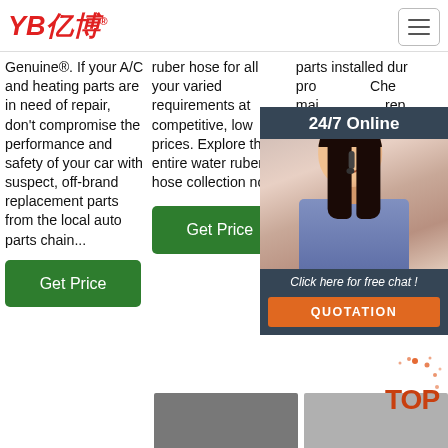[Figure (logo): YB亿博 logo in red italic text with registered trademark symbol]
Genuine®. If your A/C and heating parts are in need of repair, don't compromise the performance and safety of your car with suspect, off-brand replacement parts from the local auto parts chain...
ruber hose for all your varied requirements at competitive, low prices. Explore the entire water ruber hose collection now.
parts installed during production. Chevrolet maintenance, repair, design, engineering, testing, standards backed Motors.
[Figure (screenshot): 24/7 Online chat overlay with woman wearing headset, Click here for free chat! text and QUOTATION button]
[Figure (other): TOP badge with orange dots decoration]
[Figure (photo): Partial bottom image thumbnails]